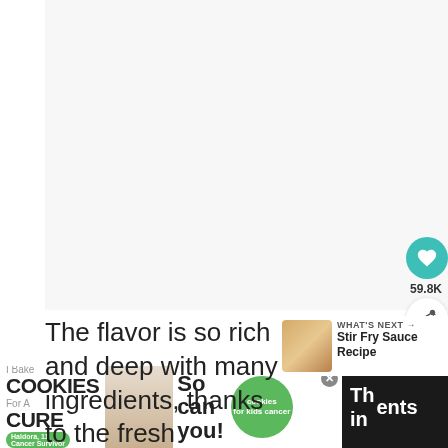[Figure (photo): Large photo area, mostly white/blank in this crop (upper portion of a recipe image)]
[Figure (infographic): Heart/save button (teal circle with heart icon) and share button (white circle with share icon), with count 59.8K]
The flavor is so rich and deep with many ingredients, thanks to the fresh ingredients:
[Figure (infographic): What's Next panel: thumbnail of a sauce jar, label 'WHAT'S NEXT →', title 'Stir Fry Sauce Recipe']
[Figure (infographic): Advertisement banner: 'I Bake COOKIES For A CURE' with Haldora, 11 Cancer Survivor, 'So can you!' and cookies for kids cancer logo]